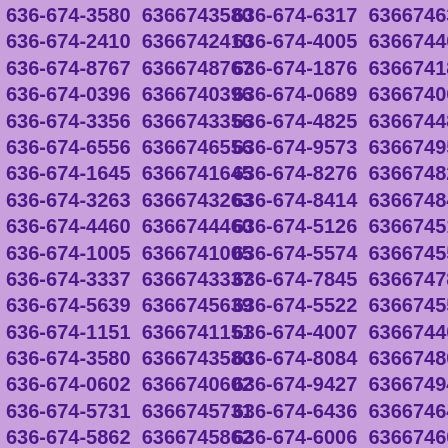636-674-3580 6366743580 636-674-6317 6366746317 636-674-2410 6366742410 636-674-4005 6366744005 636-674-8767 6366748767 636-674-1876 6366741876 636-674-0396 6366740396 636-674-0689 6366740689 636-674-3356 6366743356 636-674-4825 6366744825 636-674-6556 6366746556 636-674-9573 6366749573 636-674-1645 6366741645 636-674-8276 6366748276 636-674-3263 6366743263 636-674-8414 6366748414 636-674-4460 6366744460 636-674-5126 6366745126 636-674-1005 6366741005 636-674-5574 6366745574 636-674-3337 6366743337 636-674-7845 6366747845 636-674-5639 6366745639 636-674-5522 6366745522 636-674-1151 6366741151 636-674-4007 6366744007 636-674-3580 6366743580 636-674-8084 6366748084 636-674-0602 6366740602 636-674-9427 6366749427 636-674-5731 6366745731 636-674-6436 6366746436 636-674-5862 6366745862 636-674-6006 6366746006 636-674-3203 6366743203 636-674-1097 6366741097 636-674-0243 6366740243 636-674-9392 6366749392 636-674-4094 6366744094 636-674-8325 6366748325 636-674-3384 6366743384 636-674-1939 6366741939